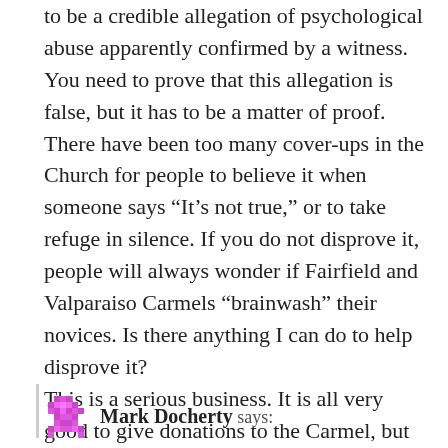to be a credible allegation of psychological abuse apparently confirmed by a witness. You need to prove that this allegation is false, but it has to be a matter of proof. There have been too many cover-ups in the Church for people to believe it when someone says “It’s not true,” or to take refuge in silence. If you do not disprove it, people will always wonder if Fairfield and Valparaiso Carmels “brainwash” their novices. Is there anything I can do to help disprove it?
This is a serious business. It is all very good to give donations to the Carmel, but what we need to do is to disprove the allegations. Otherwise, as I wrote, people will always be wondering if they are true.
Mark Docherty says: